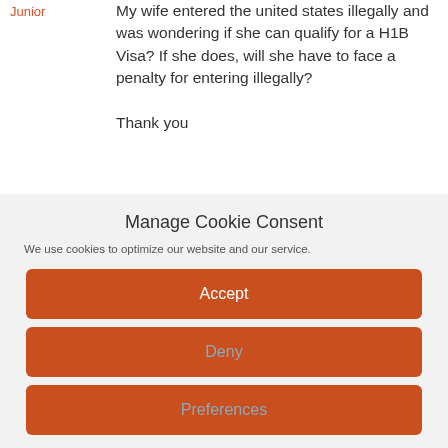Junior
My wife entered the united states illegally and was wondering if she can qualify for a H1B Visa? If she does, will she have to face a penalty for entering illegally?

Thank you
Manage Cookie Consent
We use cookies to optimize our website and our service.
Accept
Deny
Preferences